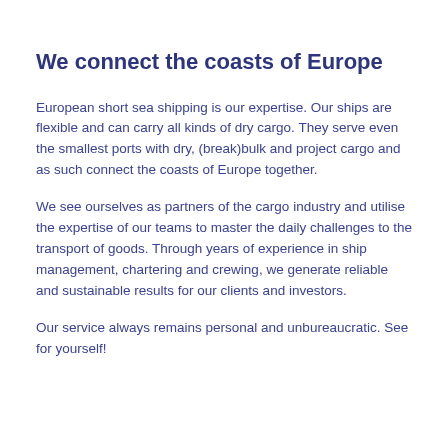We connect the coasts of Europe
European short sea shipping is our expertise. Our ships are flexible and can carry all kinds of dry cargo. They serve even the smallest ports with dry, (break)bulk and project cargo and as such connect the coasts of Europe together.
We see ourselves as partners of the cargo industry and utilise the expertise of our teams to master the daily challenges to the transport of goods. Through years of experience in ship management, chartering and crewing, we generate reliable and sustainable results for our clients and investors.
Our service always remains personal and unbureaucratic. See for yourself!